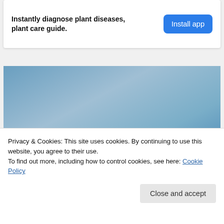Instantly diagnose plant diseases, plant care guide.
[Figure (photo): Blue sky gradient photograph]
Privacy & Cookies: This site uses cookies. By continuing to use this website, you agree to their use.
To find out more, including how to control cookies, see here: Cookie Policy